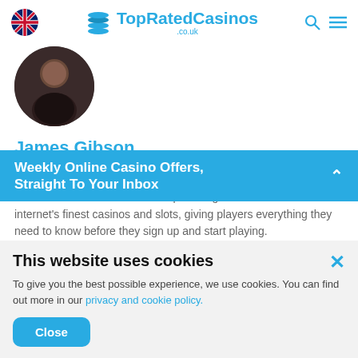TopRatedCasinos.co.uk
[Figure (photo): Circular profile photo of James Gibson, a person wearing a dark outfit against a dark background]
James Gibson
James is one of TopRatedCasinos.co.uk’s review experts. He leaves no stone unturned when providing his verdict on the internet’s finest casinos and slots, giving players everything they need to know before they sign up and start playing.
This website uses cookies
To give you the best possible experience, we use cookies. You can find out more in our privacy and cookie policy.
Close
Weekly Online Casino Offers, Straight To Your Inbox